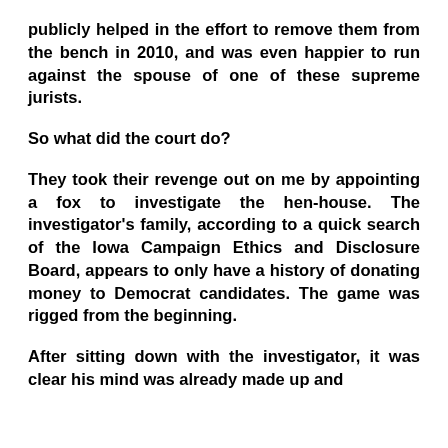publicly helped in the effort to remove them from the bench in 2010, and was even happier to run against the spouse of one of these supreme jurists.
So what did the court do?
They took their revenge out on me by appointing a fox to investigate the hen-house. The investigator's family, according to a quick search of the Iowa Campaign Ethics and Disclosure Board, appears to only have a history of donating money to Democrat candidates. The game was rigged from the beginning.
After sitting down with the investigator, it was clear his mind was already made up and